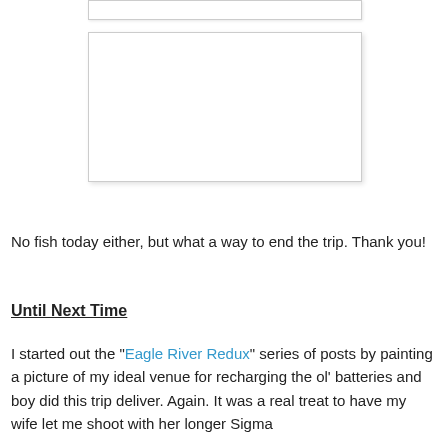[Figure (photo): Top partial image box, white rectangle with light border, appears to be continuation of a photo from above]
[Figure (photo): Large white rectangle with light border and shadow, placeholder or blank photo area]
No fish today either, but what a way to end the trip.  Thank you!
Until Next Time
I started out the "Eagle River Redux" series of posts by painting a picture of my ideal venue for recharging the ol' batteries and boy did this trip deliver. Again.  It was a real treat to have my wife let me shoot with her longer Sigma